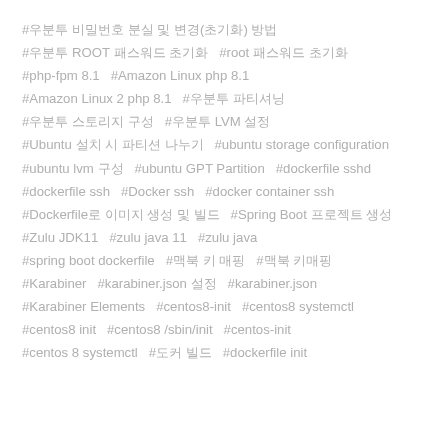#우분투 비밀번호 분실 및 변경(초기화) 방법
#우분투 ROOT 패스워드 초기화   #root 패스워드 초기화
#php-fpm 8.1   #Amazon Linux php 8.1
#Amazon Linux 2 php 8.1   #우분투 파티셔닝
#우분투 스토리지 구성   #우분투 LVM 설정
#Ubuntu 설치 시 파티션 나누기   #ubuntu storage configuration
#ubuntu lvm 구성   #ubuntu GPT Partition   #dockerfile sshd
#dockerfile ssh   #Docker ssh   #docker container ssh
#Dockerfile로 이미지 생성 및 빌드   #Spring Boot 프로젝트 생성
#Zulu JDK11   #zulu java 11   #zulu java
#spring boot dockerfile   #맥북 키 매핑   #맥북 키매핑
#Karabiner   #karabiner.json 설정   #karabiner.json
#Karabiner Elements   #centos8-init   #centos8 systemctl
#centos8 init   #centos8 /sbin/init   #centos-init
#centos 8 systemctl   #도커 빌드   #dockerfile init